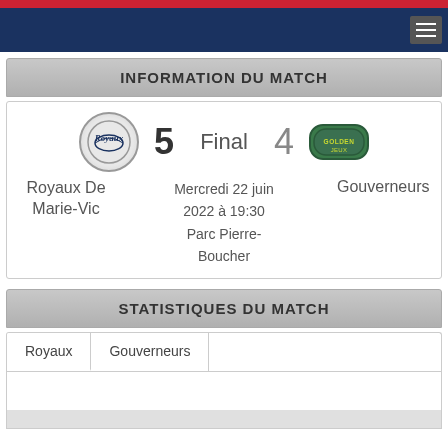Navigation bar with hamburger menu
INFORMATION DU MATCH
5 Final 4 — Royaux De Marie-Vic vs Gouverneurs — Mercredi 22 juin 2022 à 19:30 — Parc Pierre-Boucher
STATISTIQUES DU MATCH
Royaux | Gouverneurs (tabs)